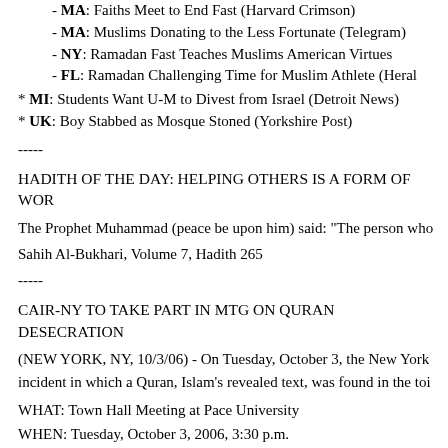- MA: Faiths Meet to End Fast (Harvard Crimson)
- MA: Muslims Donating to the Less Fortunate (Telegram)
- NY: Ramadan Fast Teaches Muslims American Virtues
- FL: Ramadan Challenging Time for Muslim Athlete (Heral...
* MI: Students Want U-M to Divest from Israel (Detroit News)
* UK: Boy Stabbed as Mosque Stoned (Yorkshire Post)
-----
HADITH OF THE DAY: HELPING OTHERS IS A FORM OF WOR...
The Prophet Muhammad (peace be upon him) said: "The person who...
Sahih Al-Bukhari, Volume 7, Hadith 265
-----
CAIR-NY TO TAKE PART IN MTG ON QURAN DESECRATION...
(NEW YORK, NY, 10/3/06) - On Tuesday, October 3, the New York incident in which a Quran, Islam's revealed text, was found in the toi...
WHAT: Town Hall Meeting at Pace University
WHEN: Tuesday, October 3, 2006, 3:30 p.m.
WHERE: Schimmel Center, Pace University (NYC campus)